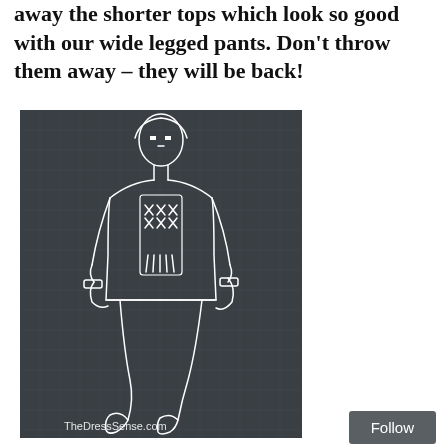away the shorter tops which look so good with our wide legged pants. Don't throw them away – they will be back!
[Figure (illustration): Fashion illustration sketch on dark blue-grey grid background showing a tall slender figure wearing a hooded tunic top with embroidered/decorated front panel and wide-leg or slim pants with boots. White line drawing style on dark background. Watermark reads 'TheDressSense.com' at the bottom.]
Follow